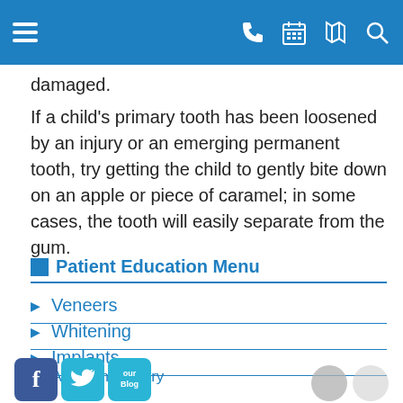Navigation bar with hamburger menu, phone, calendar, map, and search icons
damaged.
If a child's primary tooth has been loosened by an injury or an emerging permanent tooth, try getting the child to gently bite down on an apple or piece of caramel; in some cases, the tooth will easily separate from the gum.
Patient Education Menu
Veneers
Whitening
Implants
ADA Patient Library
[Figure (screenshot): Social media icons for Facebook, Twitter, and a Blog button, plus two gray circles on the right side of the footer]